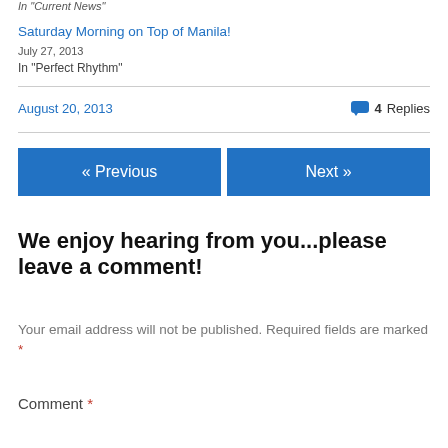In "Current News"
Saturday Morning on Top of Manila!
July 27, 2013
In "Perfect Rhythm"
August 20, 2013
4 Replies
« Previous
Next »
We enjoy hearing from you...please leave a comment!
Your email address will not be published. Required fields are marked *
Comment *